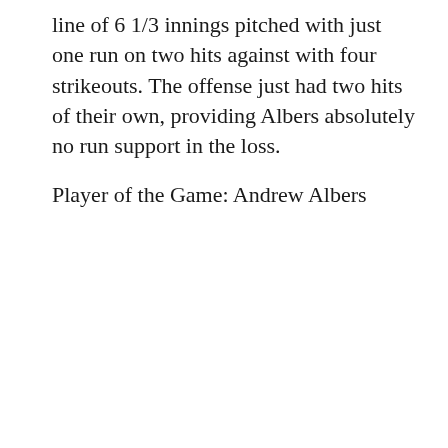line of 6 1/3 innings pitched with just one run on two hits against with four strikeouts. The offense just had two hits of their own, providing Albers absolutely no run support in the loss.
Player of the Game: Andrew Albers